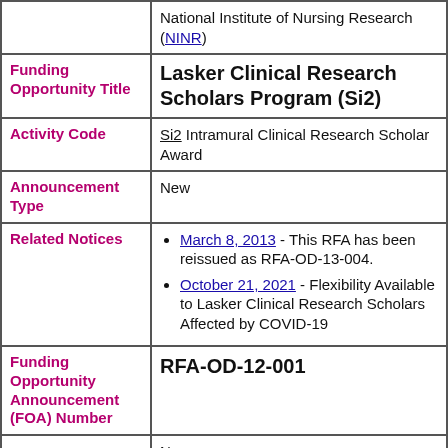| Label | Value |
| --- | --- |
|  | National Institute of Nursing Research (NINR) |
| Funding Opportunity Title | Lasker Clinical Research Scholars Program (Si2) |
| Activity Code | Si2 Intramural Clinical Research Scholar Award |
| Announcement Type | New |
| Related Notices | March 8, 2013 - This RFA has been reissued as RFA-OD-13-004. | October 21, 2021 - Flexibility Available to Lasker Clinical Research Scholars Affected by COVID-19 |
| Funding Opportunity Announcement (FOA) Number | RFA-OD-12-001 |
|  | New |